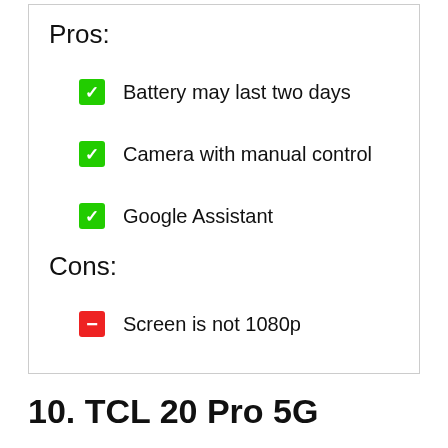Pros:
Battery may last two days
Camera with manual control
Google Assistant
Cons:
Screen is not 1080p
10. TCL 20 Pro 5G